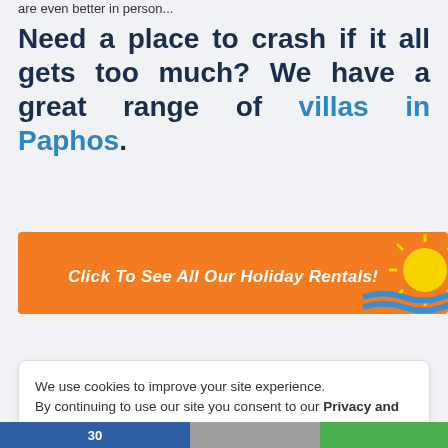are even better in person...
Need a place to crash if it all gets too much? We have a great range of villas in Paphos.
[Figure (infographic): Orange banner with text 'Click To See All Our Holiday Rentals!' and a sun/sea graphic on the right]
We use cookies to improve your site experience.
By continuing to use our site you consent to our Privacy and Cookie Policy.
Accept